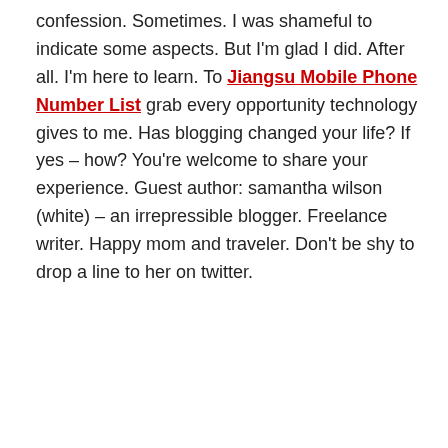confession. Sometimes. I was shameful to indicate some aspects. But I'm glad I did. After all. I'm here to learn. To Jiangsu Mobile Phone Number List grab every opportunity technology gives to me. Has blogging changed your life? If yes – how? You're welcome to share your experience. Guest author: samantha wilson (white) – an irrepressible blogger. Freelance writer. Happy mom and traveler. Don't be shy to drop a line to her on twitter.